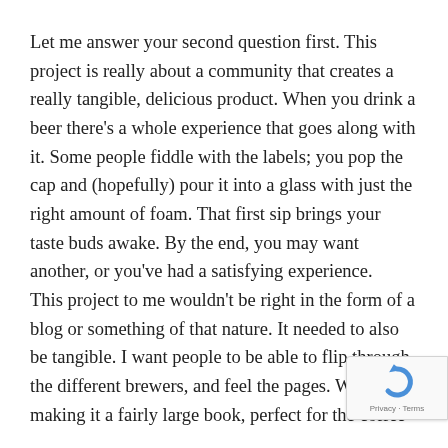Let me answer your second question first. This project is really about a community that creates a really tangible, delicious product. When you drink a beer there's a whole experience that goes along with it. Some people fiddle with the labels; you pop the cap and (hopefully) pour it into a glass with just the right amount of foam. That first sip brings your taste buds awake. By the end, you may want another, or you've had a satisfying experience.
This project to me wouldn't be right in the form of a blog or something of that nature. It needed to also be tangible. I want people to be able to flip through the different brewers, and feel the pages. We're making it a fairly large book, perfect for the coffee
[Figure (other): reCAPTCHA badge with rotating arrow logo, showing 'Privacy · Terms' text]